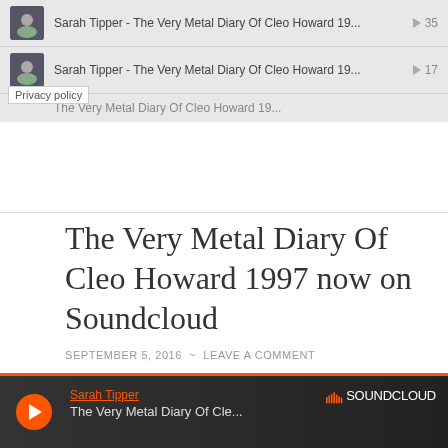[Figure (screenshot): SoundCloud widget showing two tracks: 'Sarah Tipper - The Very Metal Diary Of Cleo Howard 19...' with play counts 35 and 17, plus a partially visible third row and a Privacy policy tooltip]
The Very Metal Diary Of Cleo Howard 1997 now on Soundcloud
SEPTEMBER 5, 2016  ~  LEAVE A COMMENT
Would you prefer to listen to a book instead of reading it? If so you're in luck...
[Figure (screenshot): SoundCloud embedded player showing Sarah Tipper artist name and The Very Metal Diary Of Cle... track title with orange play button and SoundCloud logo]